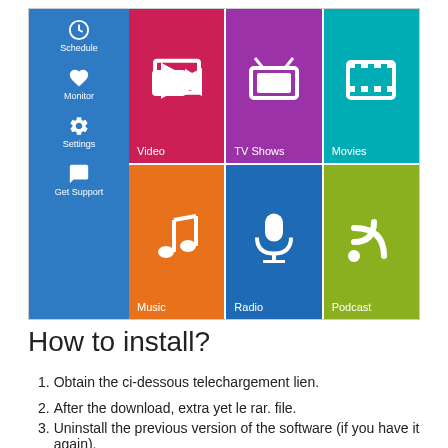[Figure (screenshot): Windows Metro-style media app UI showing a sidebar with Schedule, Monitor, Settings, Get Support icons, and a grid of 6 tiles: Video (red), TV Shows (purple), Movies (teal), Music (orange), Radio (blue), Podcast (olive/green)]
How to install?
Obtain the ci-dessous telechargement lien.
After the download, extra yet le rar. file.
Uninstall the previous version of the software (if you have it again).